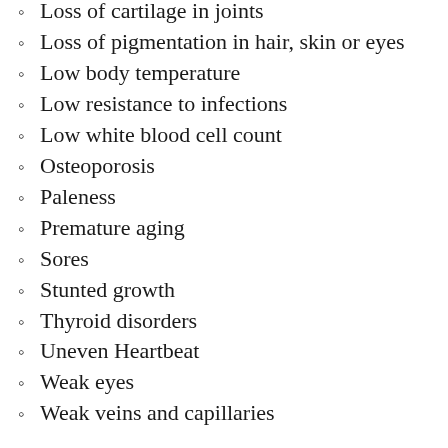Loss of cartilage in joints
Loss of pigmentation in hair, skin or eyes
Low body temperature
Low resistance to infections
Low white blood cell count
Osteoporosis
Paleness
Premature aging
Sores
Stunted growth
Thyroid disorders
Uneven Heartbeat
Weak eyes
Weak veins and capillaries